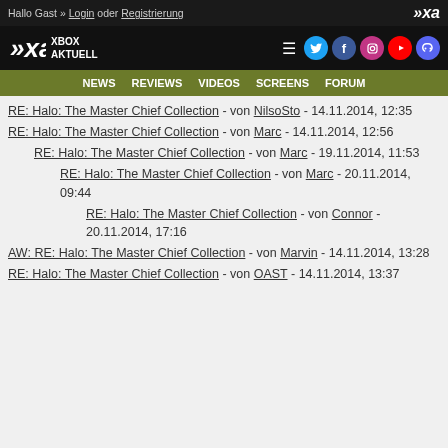Hallo Gast » Login oder Registrierung
[Figure (logo): Xbox Aktuell website header with logo and social media icons]
NEWS  REVIEWS  VIDEOS  SCREENS  FORUM
RE: Halo: The Master Chief Collection - von NilsoSto - 14.11.2014, 12:35
RE: Halo: The Master Chief Collection - von Marc - 14.11.2014, 12:56
RE: Halo: The Master Chief Collection - von Marc - 19.11.2014, 11:53
RE: Halo: The Master Chief Collection - von Marc - 20.11.2014, 09:44
RE: Halo: The Master Chief Collection - von Connor - 20.11.2014, 17:16
AW: RE: Halo: The Master Chief Collection - von Marvin - 14.11.2014, 13:28
RE: Halo: The Master Chief Collection - von OAST - 14.11.2014, 13:37